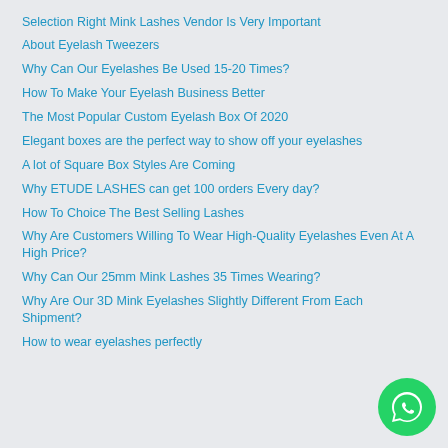Selection Right Mink Lashes Vendor Is Very Important
About Eyelash Tweezers
Why Can Our Eyelashes Be Used 15-20 Times?
How To Make Your Eyelash Business Better
The Most Popular Custom Eyelash Box Of 2020
Elegant boxes are the perfect way to show off your eyelashes
A lot of Square Box Styles Are Coming
Why ETUDE LASHES can get 100 orders Every day?
How To Choice The Best Selling Lashes
Why Are Customers Willing To Wear High-Quality Eyelashes Even At A High Price?
Why Can Our 25mm Mink Lashes 35 Times Wearing?
Why Are Our 3D Mink Eyelashes Slightly Different From Each Shipment?
How to wear eyelashes perfectly